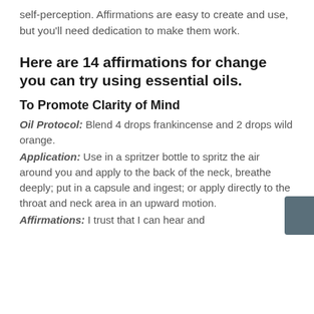self-perception. Affirmations are easy to create and use, but you'll need dedication to make them work.
Here are 14 affirmations for change you can try using essential oils.
To Promote Clarity of Mind
Oil Protocol: Blend 4 drops frankincense and 2 drops wild orange.
Application: Use in a spritzer bottle to spritz the air around you and apply to the back of the neck, breathe deeply; put in a capsule and ingest; or apply directly to the throat and neck area in an upward motion.
Affirmations: I trust that I can hear and